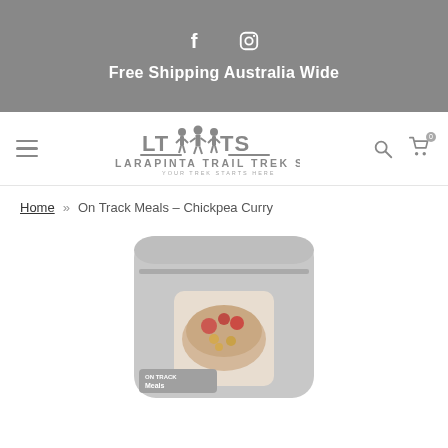[Figure (logo): Social media icons: Facebook and Instagram on grey banner]
Free Shipping Australia Wide
[Figure (logo): Larapinta Trail Trek Support logo with silhouettes of hikers, text LARAPINTA TRAIL TREK SUPPORT and YOUR TREK STARTS HERE]
Home » On Track Meals – Chickpea Curry
[Figure (photo): Product photo of On Track Meals Chickpea Curry in a grey resealable pouch with a window showing the meal]